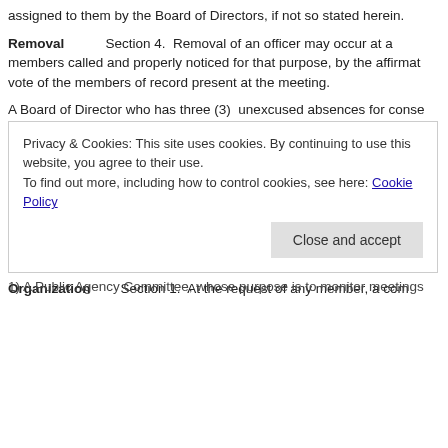assigned to them by the Board of Directors, if not so stated herein.
Removal   Section 4.  Removal of an officer may occur at a members called and properly noticed for that purpose, by the affirmative vote of the members of record present at the meeting.
A Board of Director who has three (3) unexcused absences for consecutive meetings may be removed from the Board of Directors by a majority vote of the Board. A Board member who no longer represents the views of the Association, as described in Article II, Section 1, may also be removed from the Board.
Vacancies   Section 5.  A vacancy in any office because of resignation, death, disqualification or otherwise, may be filled by appointment by the Board of Directors until the next general election
ARTICLE V. COMMITTEES
Organization   Section 1.  At the request of any member, a committee to d nit as
Privacy & Cookies: This site uses cookies. By continuing to use this website, you agree to their use.
To find out more, including how to control cookies, see here: Cookie Policy
1) A Public Agency Committee, whose purpose is to monitor meetings